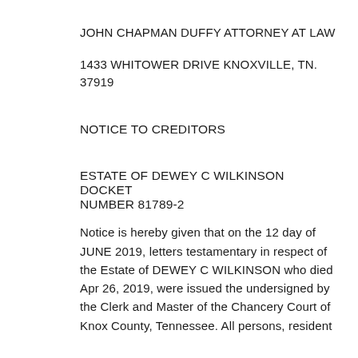JOHN CHAPMAN DUFFY ATTORNEY AT LAW
1433 WHITOWER DRIVE KNOXVILLE, TN. 37919
NOTICE TO CREDITORS
ESTATE OF DEWEY C WILKINSON DOCKET NUMBER 81789-2
Notice is hereby given that on the 12 day of JUNE 2019, letters testamentary in respect of the Estate of DEWEY C WILKINSON who died Apr 26, 2019, were issued the undersigned by the Clerk and Master of the Chancery Court of Knox County, Tennessee. All persons, resident